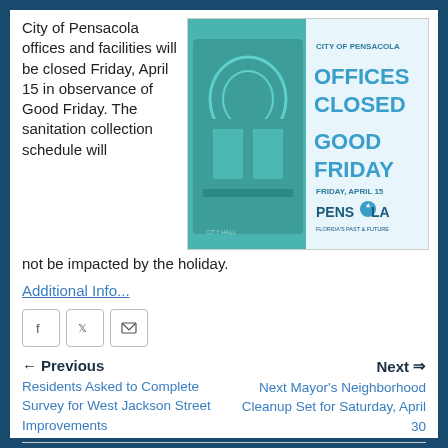City of Pensacola offices and facilities will be closed Friday, April 15 in observance of Good Friday. The sanitation collection schedule will not be impacted by the holiday.
[Figure (infographic): City of Pensacola announcement graphic showing city hall building on left with teal overlay, and text on right reading: CITY OF PENSACOLA / OFFICES CLOSED / GOOD FRIDAY / FRIDAY, APRIL 15 / PENSACOLA Florida's Past & Future logo]
Additional Info...
[Figure (other): Social sharing icons: Facebook, Twitter/X, and Email buttons]
← Previous
Residents Asked to Complete Survey for West Jackson Street Improvements
Next ⇒
Next Mayor's Neighborhood Cleanup Set for Saturday, April 30